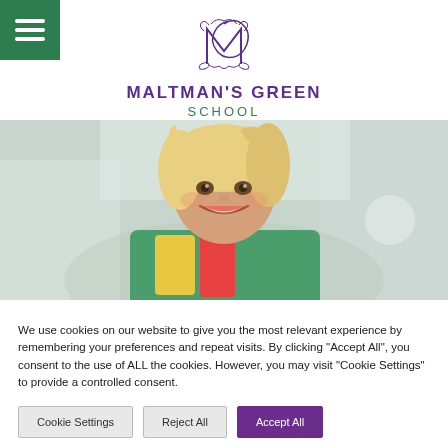[Figure (logo): Maltman's Green School logo with ornate purple monogram 'MG' and school name in purple and green text]
[Figure (photo): A young smiling blonde girl in a colorful jacket, blurred outdoor school background]
We use cookies on our website to give you the most relevant experience by remembering your preferences and repeat visits. By clicking "Accept All", you consent to the use of ALL the cookies. However, you may visit "Cookie Settings" to provide a controlled consent.
Cookie Settings | Reject All | Accept All